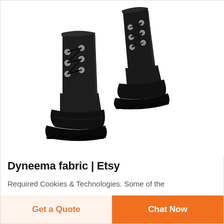[Figure (logo): DEEKON brand logo with circular emblem icon above red bold text 'DEEKON']
[Figure (photo): A pair of black high-top lace-up boots with metal eyelets and thick rubber soles, shown from a 3/4 angle on a white background]
Dyneema fabric | Etsy
Required Cookies & Technologies. Some of the
Get a Quote
Chat Now